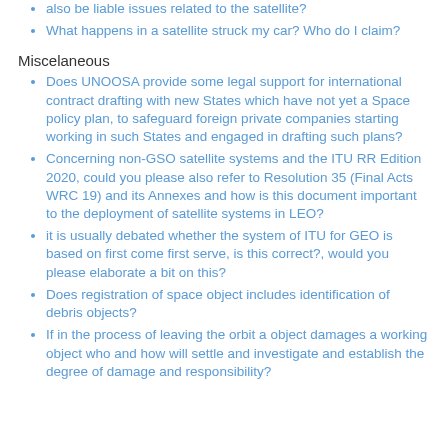also be liable issues related to the satellite?
What happens in a satellite struck my car? Who do I claim?
Miscelaneous
Does UNOOSA provide some legal support for international contract drafting with new States which have not yet a Space policy plan, to safeguard foreign private companies starting working in such States and engaged in drafting such plans?
Concerning non-GSO satellite systems and the ITU RR Edition 2020, could you please also refer to Resolution 35 (Final Acts WRC 19) and its Annexes and how is this document important to the deployment of satellite systems in LEO?
it is usually debated whether the system of ITU for GEO is based on first come first serve, is this correct?, would you please elaborate a bit on this?
Does registration of space object includes identification of debris objects?
If in the process of leaving the orbit a object damages a working object who and how will settle and investigate and establish the degree of damage and responsibility?